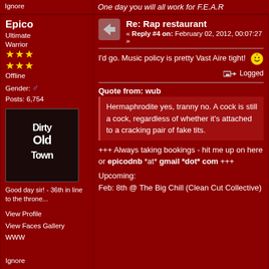Ignore | One day you will all work for F.E.A.R
Epico
Ultimate Warrior
Offline
Gender: male
Posts: 6,754
Re: Rap restaurant
« Reply #4 on: February 02, 2012, 00:07:27 »
I'd go. Music policy is pretty Vast Aire tight!
Logged
Quote from: wub
Hermaphrodite yes, tranny no. A cock is still a cock, regardless of whether it's attached to a cracking pair of fake tits.
+++ Always taking bookings - hit me up on here or epicodnb *at* gmail *dot* com +++
Upcoming:
Feb: 8th @ The Big Chill (Clean Cut Collective)
View Profile
View Faces Gallery
WWW
Ignore
Bill Price
Ultimate Warrior
Re: Rap restaurant
« Reply #5 on: February 02, 2012, 02:26:55 »